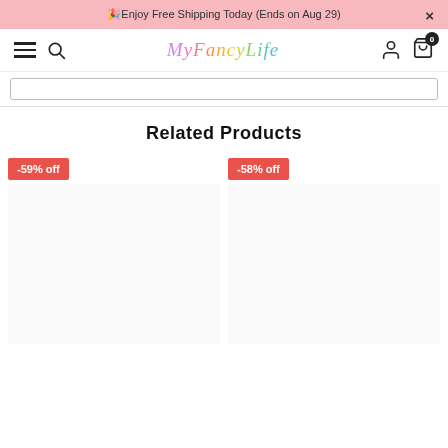🎉Enjoy Free Shipping Today (Ends on Aug 29)  ×
[Figure (screenshot): MyFancyLife website navigation bar with hamburger menu, search icon, logo, user icon, and cart with 0 items]
[Figure (screenshot): Search bar input box]
Related Products
[Figure (screenshot): Product card with -59% off discount badge]
[Figure (screenshot): Product card with -58% off discount badge]